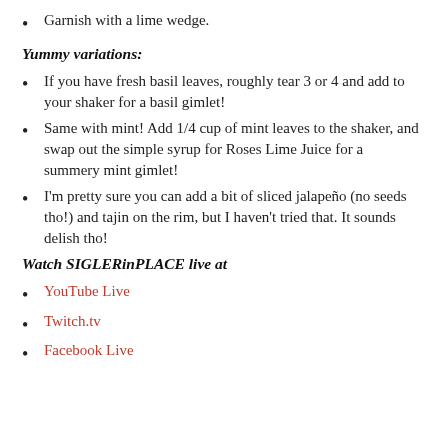Garnish with a lime wedge.
Yummy variations:
If you have fresh basil leaves, roughly tear 3 or 4 and add to your shaker for a basil gimlet!
Same with mint! Add 1/4 cup of mint leaves to the shaker, and swap out the simple syrup for Roses Lime Juice for a summery mint gimlet!
I'm pretty sure you can add a bit of sliced jalapeño (no seeds tho!) and tajin on the rim, but I haven't tried that. It sounds delish tho!
Watch SIGLERinPLACE live at
YouTube Live
Twitch.tv
Facebook Live